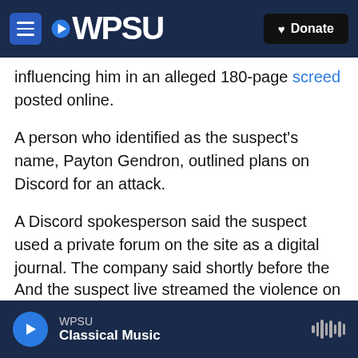WPSU | Donate
influencing him in an alleged 180-page screed posted online.
A person who identified as the suspect's name, Payton Gendron, outlined plans on Discord for an attack.
A Discord spokesperson said the suspect used a private forum on the site as a digital journal. The company said shortly before the Buffalo attack, a small group of people were invited to the forum, but before that it was viewed only by the suspect.
And the suspect live streamed the violence on
WPSU Classical Music